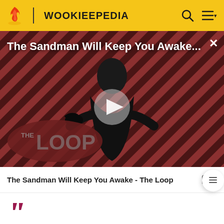WOOKIEEPEDIA
[Figure (screenshot): Video thumbnail showing a figure in black cloak on a red and black diagonal striped background with 'THE LOOP' logo overlay and a play button. Title overlay reads 'The Sandman Will Keep You Awake...']
The Sandman Will Keep You Awake - The Loop
This appears to be a dead language. Yes definitely—the